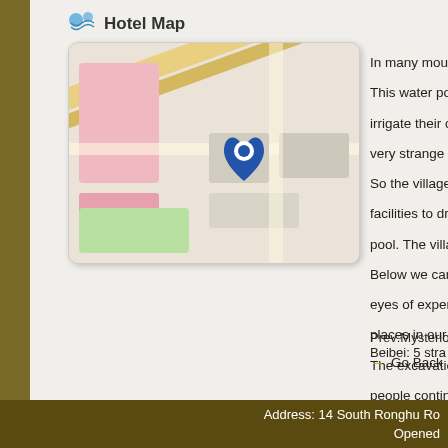Hotel Map
[Figure (map): A street map showing a hotel location marked with a blue pin marker. The map shows roads, buildings, and green areas in a typical map style.]
In many mountain villages, th... This water pool is the living w... irrigate their crops. However, very strange about this pond... So the villagers planned to d... facilities to drain the water fro... pool. The villagers were very... Below we can see a lot of mu... eyes of experts, such a large... places in our country. The excavation of these histo... people continue to explore, p... this? Have you ever seen thi...
Prev:Mysterious Beibei: 5 stra...
Go Back
Address: 14 South Ronghu Ro... Opened...